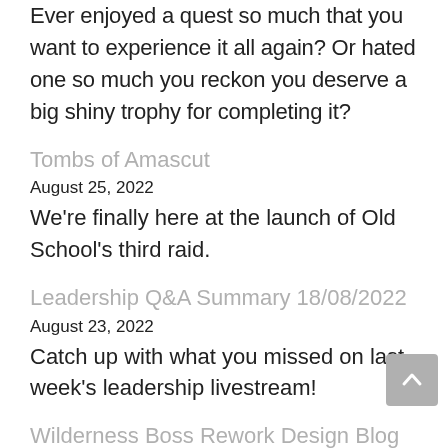Ever enjoyed a quest so much that you want to experience it all again? Or hated one so much you reckon you deserve a big shiny trophy for completing it?
Tombs of Amascut
August 25, 2022
We're finally here at the launch of Old School's third raid.
Leadership Q&A Summary 18/08/2022
August 23, 2022
Catch up with what you missed on last week's leadership livestream!
Wilderness Boss Rework Design Blog